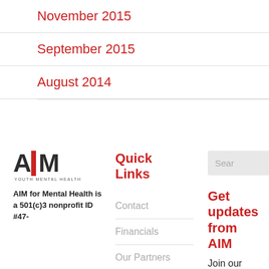November 2015
September 2015
August 2014
[Figure (logo): AIM Youth Mental Health logo with large bold letters A, red vertical bar for I, and M, with 'YOUTH MENTAL HEALTH' text below]
AIM for Mental Health is a 501(c)3 nonprofit ID #47-
Quick Links
Contact
Financials
Our Partners
Get updates from AIM
Join our